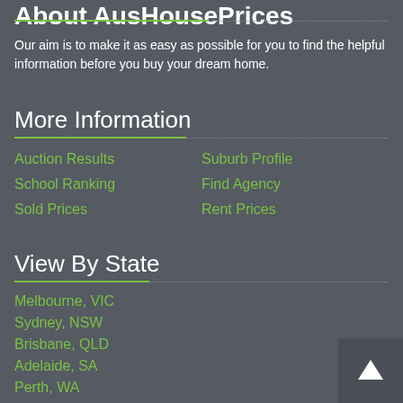About AusHousePrice
Our aim is to make it as easy as possible for you to find the helpful information before you buy your dream home.
More Information
Auction Results
School Ranking
Sold Prices
Suburb Profile
Find Agency
Rent Prices
View By State
Melbourne, VIC
Sydney, NSW
Brisbane, QLD
Adelaide, SA
Perth, WA
Canberra, ACT